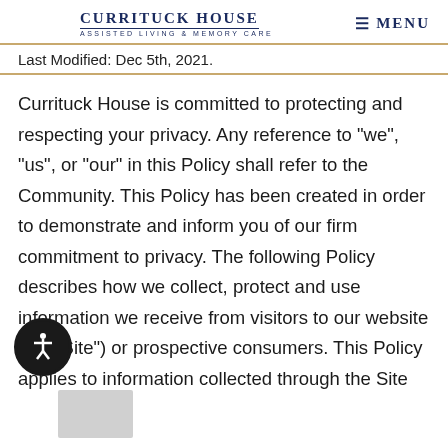Currituck House Assisted Living & Memory Care | Menu
Last Modified: Dec 5th, 2021.
Currituck House is committed to protecting and respecting your privacy. Any reference to "we", "us", or "our" in this Policy shall refer to the Community. This Policy has been created in order to demonstrate and inform you of our firm commitment to privacy. The following Policy describes how we collect, protect and use information we receive from visitors to our website (the "Site") or prospective consumers. This Policy applies to information collected through the Site